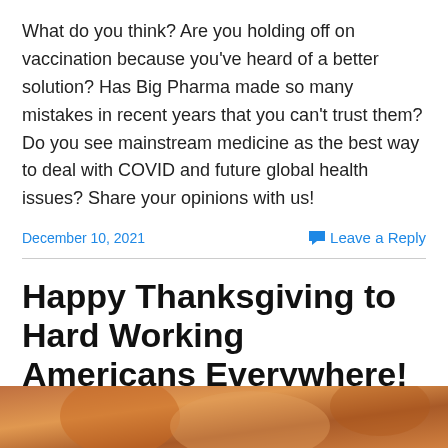What do you think? Are you holding off on vaccination because you've heard of a better solution? Has Big Pharma made so many mistakes in recent years that you can't trust them? Do you see mainstream medicine as the best way to deal with COVID and future global health issues? Share your opinions with us!
December 10, 2021 | Leave a Reply
Happy Thanksgiving to Hard Working Americans Everywhere!
Rate This
[Figure (photo): Partial photo strip at the bottom of the page, showing warm orange/brown tones]